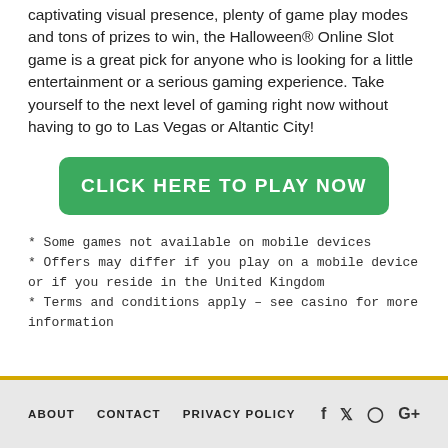captivating visual presence, plenty of game play modes and tons of prizes to win, the Halloween® Online Slot game is a great pick for anyone who is looking for a little entertainment or a serious gaming experience. Take yourself to the next level of gaming right now without having to go to Las Vegas or Altantic City!
[Figure (other): Green rounded button with white bold uppercase text reading CLICK HERE TO PLAY NOW]
* Some games not available on mobile devices
* Offers may differ if you play on a mobile device or if you reside in the United Kingdom
* Terms and conditions apply – see casino for more information
ABOUT   CONTACT   PRIVACY POLICY   f  Twitter  Instagram  G+